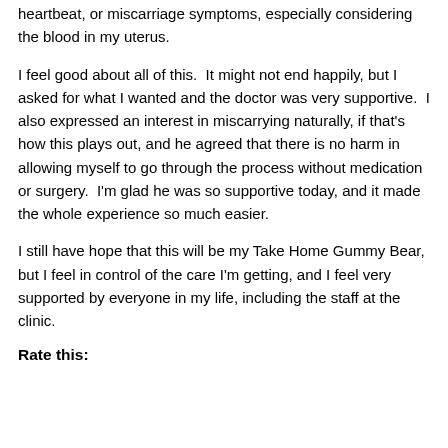heartbeat, or miscarriage symptoms, especially considering the blood in my uterus.
I feel good about all of this.  It might not end happily, but I asked for what I wanted and the doctor was very supportive.  I also expressed an interest in miscarrying naturally, if that's how this plays out, and he agreed that there is no harm in allowing myself to go through the process without medication or surgery.  I'm glad he was so supportive today, and it made the whole experience so much easier.
I still have hope that this will be my Take Home Gummy Bear, but I feel in control of the care I'm getting, and I feel very supported by everyone in my life, including the staff at the clinic.
Rate this: